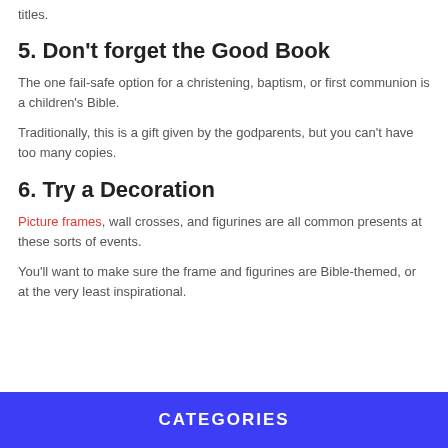titles.
5. Don't forget the Good Book
The one fail-safe option for a christening, baptism, or first communion is a children's Bible.
Traditionally, this is a gift given by the godparents, but you can't have too many copies.
6. Try a Decoration
Picture frames, wall crosses, and figurines are all common presents at these sorts of events.
You'll want to make sure the frame and figurines are Bible-themed, or at the very least inspirational.
CATEGORIES